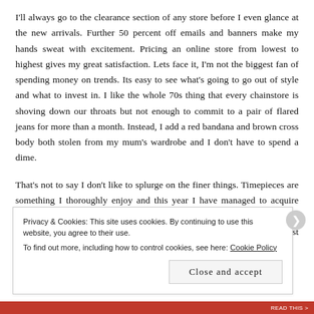I'll always go to the clearance section of any store before I even glance at the new arrivals. Further 50 percent off emails and banners make my hands sweat with excitement. Pricing an online store from lowest to highest gives my great satisfaction. Lets face it, I'm not the biggest fan of spending money on trends. Its easy to see what's going to go out of style and what to invest in. I like the whole 70s thing that every chainstore is shoving down our throats but not enough to commit to a pair of flared jeans for more than a month. Instead, I add a red bandana and brown cross body both stolen from my mum's wardrobe and I don't have to spend a dime.
That's not to say I don't like to splurge on the finer things. Timepieces are something I thoroughly enjoy and this year I have managed to acquire quite a few unintentionally. One of which includes this Rumba Time piece. The beautifully cut edges reflect light and create the prettiest rainbow effect on...
Privacy & Cookies: This site uses cookies. By continuing to use this website, you agree to their use.
To find out more, including how to control cookies, see here: Cookie Policy
Close and accept